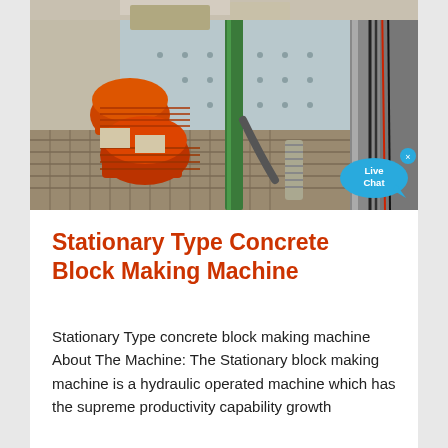[Figure (photo): Industrial machinery photo showing orange electric motors, green vertical pipe/column, metal grating floor, and a large blue-grey metal panel with bolts, viewed from above at an angle. Various cables and mechanical components visible.]
Stationary Type Concrete Block Making Machine
Stationary Type concrete block making machine About The Machine: The Stationary block making machine is a hydraulic operated machine which has the supreme productivity capability growth